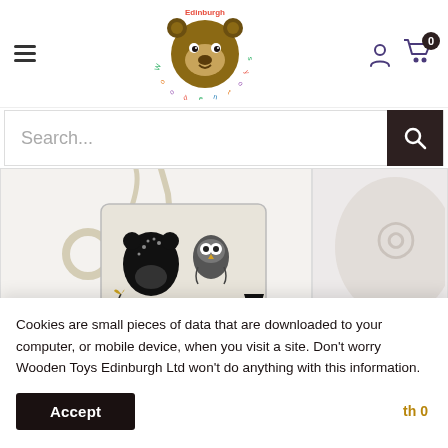[Figure (logo): Edinburgh Wooden Toys bear logo with colorful text around a wooden bear face illustration]
Search...
[Figure (photo): A fabric soft book with black and white forest animal illustrations (bear, owl, trees) and a wooden teething ring, hanging by a strap]
Cookies are small pieces of data that are downloaded to your computer, or mobile device, when you visit a site. Don't worry Wooden Toys Edinburgh Ltd won't do anything with this information.
Accept
£25.77
£24.77